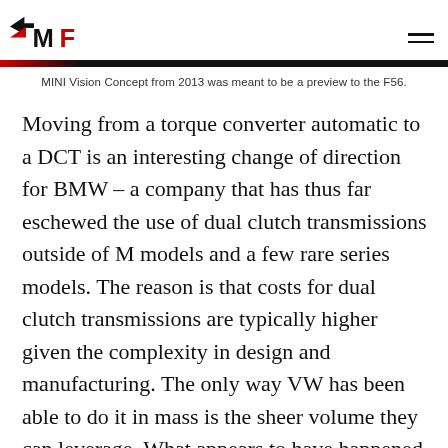MF logo and navigation
MINI Vision Concept from 2013 was meant to be a preview to the F56.
Moving from a torque converter automatic to a DCT is an interesting change of direction for BMW – a company that has thus far eschewed the use of dual clutch transmissions outside of M models and a few rare series models. The reason is that costs for dual clutch transmissions are typically higher given the complexity in design and manufacturing. The only way VW has been able to do it in mass is the sheer volume they can leverage. What appears to have happened is that BMW and MINI found a willing partner in Getrag ready to bring costs down in order to battle the increasingly popular 8 and 9 speed automatics from ZF and Aisin.